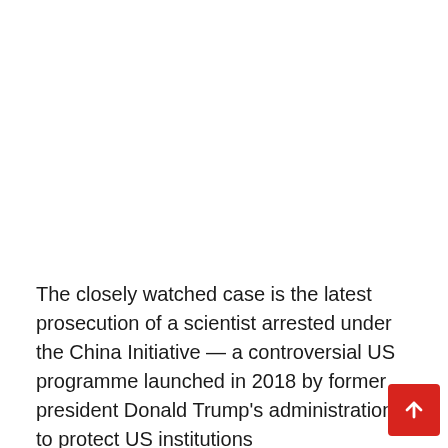The closely watched case is the latest prosecution of a scientist arrested under the China Initiative — a controversial US programme launched in 2018 by former president Donald Trump's administration to protect US institutions from...